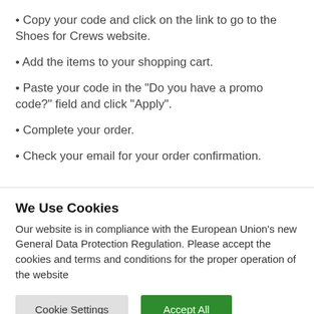• Copy your code and click on the link to go to the Shoes for Crews website.
• Add the items to your shopping cart.
• Paste your code in the "Do you have a promo code?" field and click "Apply".
• Complete your order.
• Check your email for your order confirmation.
We Use Cookies
Our website is in compliance with the European Union's new General Data Protection Regulation. Please accept the cookies and terms and conditions for the proper operation of the website